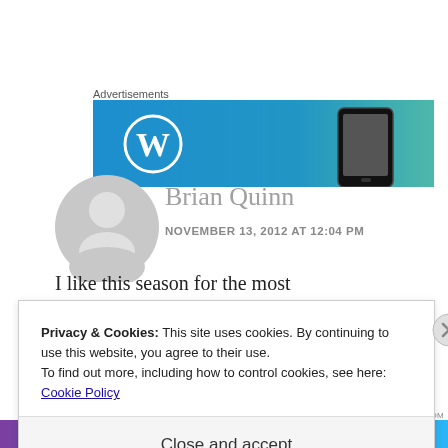Advertisements
[Figure (screenshot): WordPress advertisement banner showing WordPress logo on blue gradient background with a mobile phone on the right side]
[Figure (illustration): Generic grey user avatar circle silhouette]
Brian Quinn
NOVEMBER 13, 2012 AT 12:04 PM
I like this season for the most
Privacy & Cookies: This site uses cookies. By continuing to use this website, you agree to their use.
To find out more, including how to control cookies, see here: Cookie Policy
Close and accept